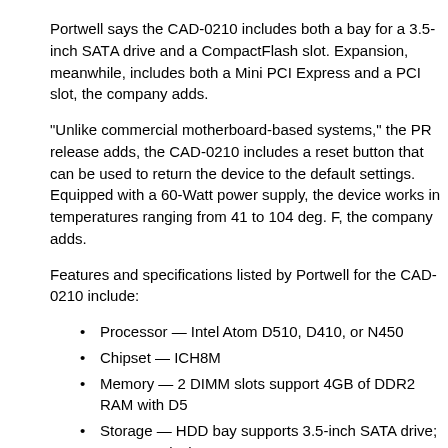Portwell says the CAD-0210 includes both a bay for a 3.5-inch SATA drive and a CompactFlash slot. Expansion, meanwhile, includes both a Mini PCI Express and a PCI slot, the company adds.
"Unlike commercial motherboard-based systems," the PR release adds, the CAD-0210 includes a reset button that can be used to return the device to the manufacturer default settings. Equipped with a 60-Watt power supply, the device works in temperatures ranging from 41 to 104 deg. F, the company adds.
Features and specifications listed by Portwell for the CAD-0210 include:
Processor — Intel Atom D510, D410, or N450
Chipset — ICH8M
Memory — 2 DIMM slots support 4GB of DDR2 RAM with D5
Storage — HDD bay supports 3.5-inch SATA drive; CompactFlash
Expansion:
Networking — 6 x gigabit Ethernet (2 with LAN bypass)
Other I/O: